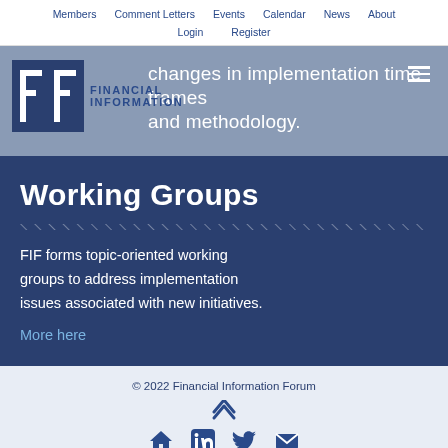Members | Comment Letters | Events | Calendar | News | About | Login | Register
[Figure (logo): FIF Financial Information Forum logo with blue stylized F letters]
changes in implementation time frames and methodology.
Working Groups
FIF forms topic-oriented working groups to address implementation issues associated with new initiatives.
More here
© 2022 Financial Information Forum